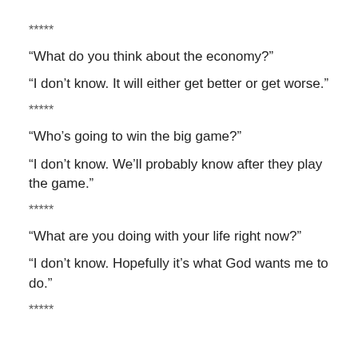*****
“What do you think about the economy?”
“I don’t know. It will either get better or get worse.”
*****
“Who’s going to win the big game?”
“I don’t know. We’ll probably know after they play the game.”
*****
“What are you doing with your life right now?”
“I don’t know. Hopefully it’s what God wants me to do.”
*****